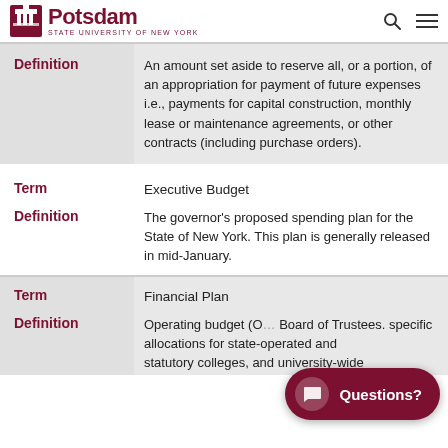Potsdam STATE UNIVERSITY OF NEW YORK
| Label | Content |
| --- | --- |
| Definition | An amount set aside to reserve all, or a portion, of an appropriation for payment of future expenses i.e., payments for capital construction, monthly lease or maintenance agreements, or other contracts (including purchase orders). |
| Term | Executive Budget |
| Definition | The governor's proposed spending plan for the State of New York. This plan is generally released in mid-January. |
| Term | Financial Plan |
| Definition | Operating budget (O... Board of Trustees. ...specific allocations for state-operated and statutory colleges, and university-wide... |